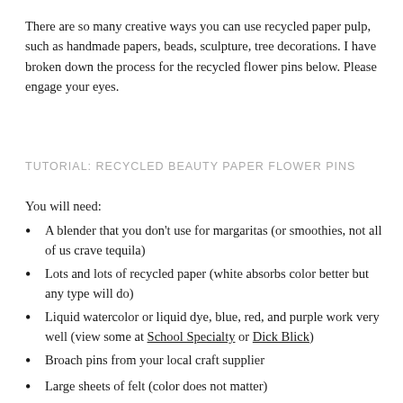There are so many creative ways you can use recycled paper pulp, such as handmade papers, beads, sculpture, tree decorations. I have broken down the process for the recycled flower pins below. Please engage your eyes.
TUTORIAL: RECYCLED BEAUTY PAPER FLOWER PINS
You will need:
A blender that you don't use for margaritas (or smoothies, not all of us crave tequila)
Lots and lots of recycled paper (white absorbs color better but any type will do)
Liquid watercolor or liquid dye, blue, red, and purple work very well (view some at School Specialty or Dick Blick)
Broach pins from your local craft supplier
Large sheets of felt (color does not matter)
Tacky glue or hot glue